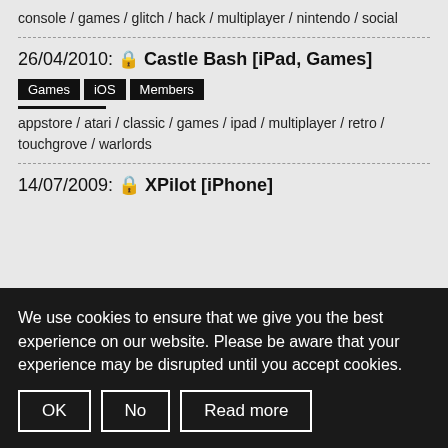console / games / glitch / hack / multiplayer / nintendo / social
26/04/2010: 🔒 Castle Bash [iPad, Games]
Games
iOS
Members
appstore / atari / classic / games / ipad / multiplayer / retro / touchgrove / warlords
14/07/2009: 🔒 XPilot [iPhone]
We use cookies to ensure that we give you the best experience on our website. Please be aware that your experience may be disrupted until you accept cookies.